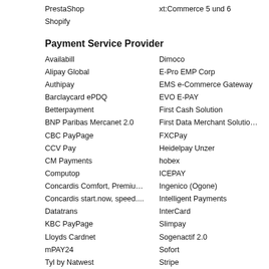PrestaShop
xt:Commerce 5 und 6
Shopify
Payment Service Provider
Availabill
Dimoco
Alipay Global
E-Pro EMP Corp
Authipay
EMS e-Commerce Gateway
Barclaycard ePDQ
EVO E-PAY
Betterpayment
First Cash Solution
BNP Paribas Mercanet 2.0
First Data Merchant Solutio…
CBC PayPage
FXCPay
CCV Pay
Heidelpay Unzer
CM Payments
hobex
Computop
ICEPAY
Concardis Comfort, Premiu…
Ingenico (Ogone)
Concardis start.now, speed....
Intelligent Payments
Datatrans
InterCard
KBC PayPage
Slimpay
Lloyds Cardnet
Sogenactif 2.0
mPAY24
Sofort
Tyl by Natwest
Stripe
Open Payment Platform
Telecash from fiserv